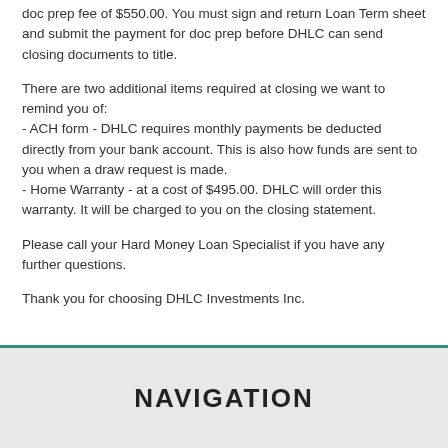doc prep fee of $550.00. You must sign and return Loan Term sheet and submit the payment for doc prep before DHLC can send closing documents to title.
There are two additional items required at closing we want to remind you of:
- ACH form - DHLC requires monthly payments be deducted directly from your bank account. This is also how funds are sent to you when a draw request is made.
- Home Warranty - at a cost of $495.00. DHLC will order this warranty. It will be charged to you on the closing statement.
Please call your Hard Money Loan Specialist if you have any further questions.
Thank you for choosing DHLC Investments Inc.
NAVIGATION